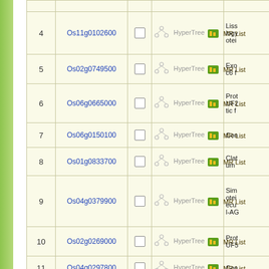| # | Gene ID | Select | Tools | Description |
| --- | --- | --- | --- | --- |
| 4 | Os11g0102600 |  | HyperTree MR List | Liss...logy...otei... |
| 5 | Os02g0749500 |  | HyperTree MR List | Exo...c6 f... |
| 6 | Os06g0665000 |  | HyperTree MR List | Prot...UF2...tic f... |
| 7 | Os06g0150100 |  | HyperTree MR List | Con... |
| 8 | Os01g0833700 |  | HyperTree MR List | Clat...um... |
| 9 | Os04g0379900 |  | HyperTree MR List | Sim...otei...ecu...l-AG... |
| 10 | Os02g0269000 |  | HyperTree MR List | Prot...UF5... |
| 11 | Os04g0297800 |  | HyperTree MR List | Con... |
| 12 | Os07g0680300 |  | HyperTree MR List | Sim...e c...prob... |
|  |  |  | HyperTree MR List | Tra... |